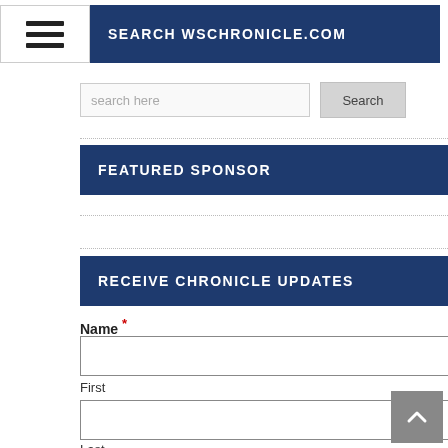[Figure (screenshot): Hamburger menu icon button with three horizontal bars]
SEARCH WSCHRONICLE.COM
[Figure (screenshot): Search input field with placeholder text 'search here' and a Search button]
FEATURED SPONSOR
RECEIVE CHRONICLE UPDATES
Name *
First
Last